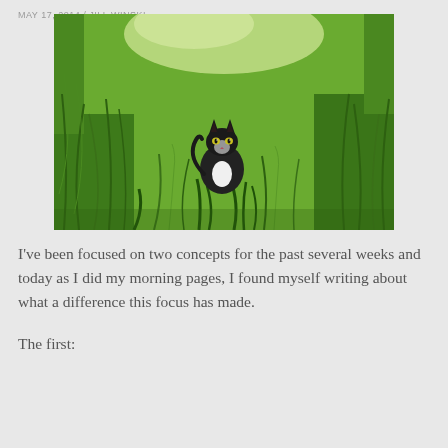MAY 17, 2014 / JILL WINSKI
[Figure (photo): A black and white tuxedo cat sitting in tall green grass, looking up at the camera.]
I've been focused on two concepts for the past several weeks and today as I did my morning pages, I found myself writing about what a difference this focus has made.
The first: